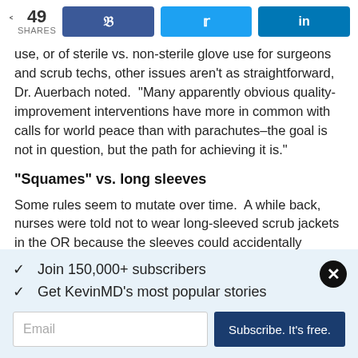49 SHARES | Facebook | Twitter | LinkedIn
use, or of sterile vs. non-sterile glove use for surgeons and scrub techs, other issues aren't as straightforward, Dr. Auerbach noted.  "Many apparently obvious quality-improvement interventions have more in common with calls for world peace than with parachutes–the goal is not in question, but the path for achieving it is."
“Squames” vs. long sleeves
Some rules seem to mutate over time.  A while back, nurses were told not to wear long-sleeved scrub jackets in the OR because the sleeves could accidentally contaminate sterile surfaces.  Now, the AORN says that everyone should wear
✓  Join 150,000+ subscribers
✓  Get KevinMD's most popular stories
Email
Subscribe. It's free.